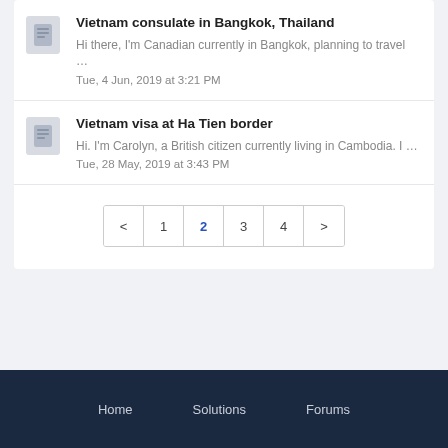Vietnam consulate in Bangkok, Thailand
Hi there, I'm Canadian currently in Bangkok, planning to travel …
Tue, 4 Jun, 2019 at 3:21 PM
Vietnam visa at Ha Tien border
Hi. I'm Carolyn, a British citizen currently living in Cambodia. I …
Tue, 28 May, 2019 at 3:43 PM
< 1 2 3 4 >
Home    Solutions    Forums